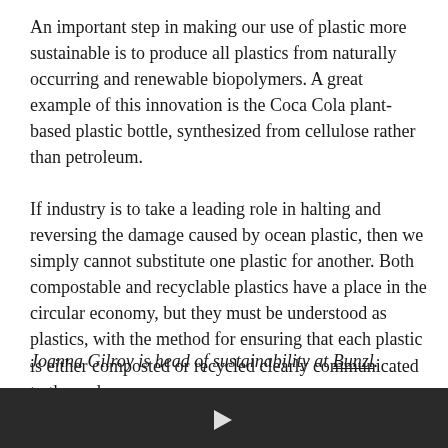An important step in making our use of plastic more sustainable is to produce all plastics from naturally occurring and renewable biopolymers. A great example of this innovation is the Coca Cola plant-based plastic bottle, synthesized from cellulose rather than petroleum.
If industry is to take a leading role in halting and reversing the damage caused by ocean plastic, then we simply cannot substitute one plastic for another. Both compostable and recyclable plastics have a place in the circular economy, but they must be understood as plastics, with the method for ensuring that each plastic is either composted or recycled clearly communicated to the end user.
Joanna Gilroy is head of sustainability at Bunzl.
This story first appeared on: BusinessGreen
[Figure (other): Dark gray/black bar at the bottom of the page, resembling a video player or media element with a play button icon]